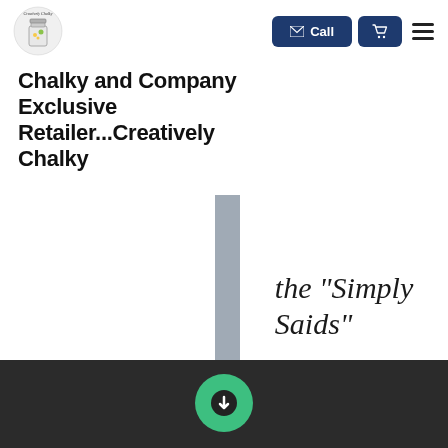[Figure (logo): Creatively Chalky logo with jar/bottle graphic and cursive text]
[Figure (other): Call button (dark navy blue) with envelope icon and 'Call' text, cart button, and hamburger menu icon]
Chalky and Company Exclusive Retailer...Creatively Chalky
[Figure (photo): Hero section with white panel on left, marble/gray divider, white panel on right containing script text 'the "Simply Saids"', gray marble background below]
[Figure (other): Dark footer bar with green circular download arrow button]